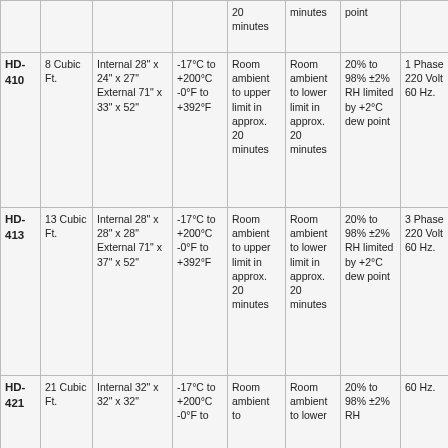| Model | Capacity | Dimensions | Temp Range | Heat Up | Cool Down | Humidity | Power |
| --- | --- | --- | --- | --- | --- | --- | --- |
|  |  |  |  | 20 minutes | minutes | point |  |
| HD-410 | 8 Cubic Ft. | Internal 28" x 24" x 27" External 71" x 33" x 52" | -17°C to +200°C -0°F to +392°F | Room ambient to upper limit in approx. 20 minutes | Room ambient to lower limit in approx. 20 minutes | 20% to 98% ±2% RH limited by +2°C dew point | 1 Phase 220 Volt 60 Hz. |
| HD-413 | 13 Cubic Ft. | Internal 28" x 28" x 28" External 71" x 37" x 52" | -17°C to +200°C -0°F to +392°F | Room ambient to upper limit in approx. 20 minutes | Room ambient to lower limit in approx. 20 minutes | 20% to 98% ±2% RH limited by +2°C dew point | 3 Phase 220 Volt 60 Hz. |
| HD-421 | 21 Cubic Ft. | Internal 32" x 32" x 32" | -17°C to +200°C -0°F to | Room ambient to | Room ambient to lower | 20% to 98% ±2% RH | 60 Hz. |